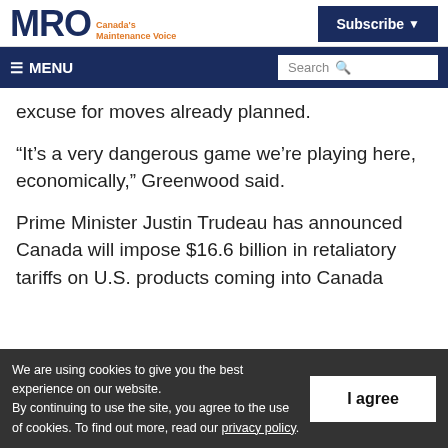MRO Canada's Maintenance Voice | Subscribe
≡ MENU | Search
excuse for moves already planned.
“It’s a very dangerous game we’re playing here, economically,” Greenwood said.
Prime Minister Justin Trudeau has announced Canada will impose $16.6 billion in retaliatory tariffs on U.S. products coming into Canada
We are using cookies to give you the best experience on our website.
By continuing to use the site, you agree to the use of cookies. To find out more, read our privacy policy.